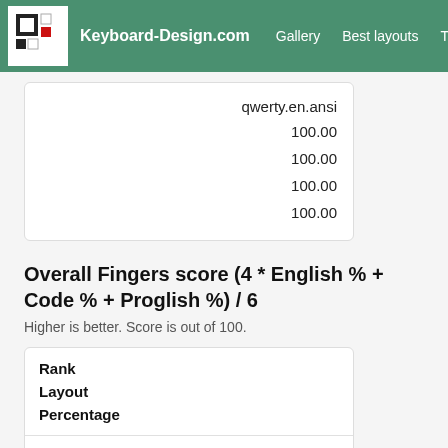Keyboard-Design.com  Gallery  Best layouts  Too
| qwerty.en.ansi |
| 100.00 |
| 100.00 |
| 100.00 |
| 100.00 |
Overall Fingers score (4 * English % + Code % + Proglish %) / 6
Higher is better. Score is out of 100.
| Rank | Layout | Percentage |
| --- | --- | --- |
|  | Best |  |